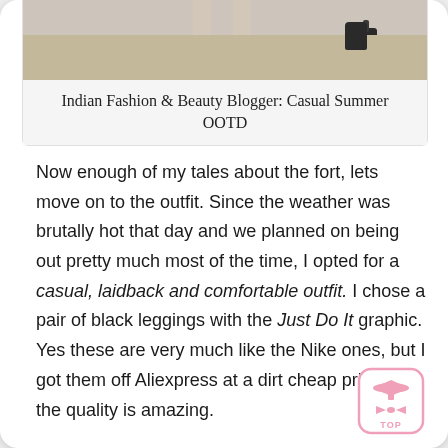[Figure (photo): Partial photo of a fashion blogger at a sandy/rocky outdoor location, showing legs and a dark bag on the ground]
Indian Fashion & Beauty Blogger: Casual Summer OOTD
Now enough of my tales about the fort, lets move on to the outfit. Since the weather was brutally hot that day and we planned on being out pretty much most of the time, I opted for a casual, laidback and comfortable outfit. I chose a pair of black leggings with the Just Do It graphic. Yes these are very much like the Nike ones, but I got them off Aliexpress at a dirt cheap price yet the quality is amazing.
[Figure (logo): Pink TOP button logo with a graduation cap and bow tie icon]